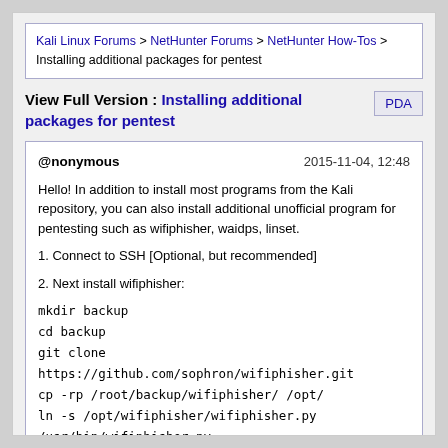Kali Linux Forums > NetHunter Forums > NetHunter How-Tos > Installing additional packages for pentest
View Full Version : Installing additional packages for pentest
@nonymous  2015-11-04, 12:48
Hello! In addition to install most programs from the Kali repository, you can also install additional unofficial program for pentesting such as wifiphisher, waidps, linset.
1. Connect to SSH [Optional, but recommended]
2. Next install wifiphisher:
mkdir backup
cd backup
git clone https://github.com/sophron/wifiphisher.git
cp -rp /root/backup/wifiphisher/ /opt/
ln -s /opt/wifiphisher/wifiphisher.py /usr/bin/wifiphisher.py
chmod +x /usr/bin/wifiphisher.py
3. Install waidps:
mkdir backup
cd backup
git clone https://github.com/SYWorks/waidps.git